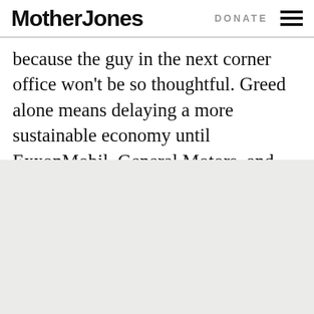Mother Jones  DONATE
because the guy in the next corner office won't be so thoughtful. Greed alone means delaying a more sustainable economy until ExxonMobil, General Motors, and whichever banks are still in business have extracted the last drop of profit from the current system.